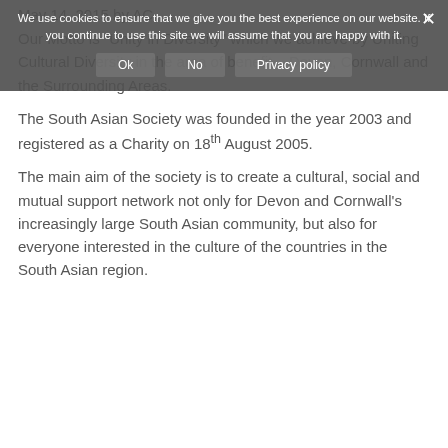May 14, 2015 by AC
Our Motto is “Unity in Diversity” which we achieve by Uniting Cultural Diversity in the area of benefit – Devon, Cornwall and the Surrounding Areas.
The South Asian Society was founded in the year 2003 and registered as a Charity on 18th August 2005.
The main aim of the society is to create a cultural, social and mutual support network not only for Devon and Cornwall’s increasingly large South Asian community, but also for everyone interested in the culture of the countries in the South Asian region.